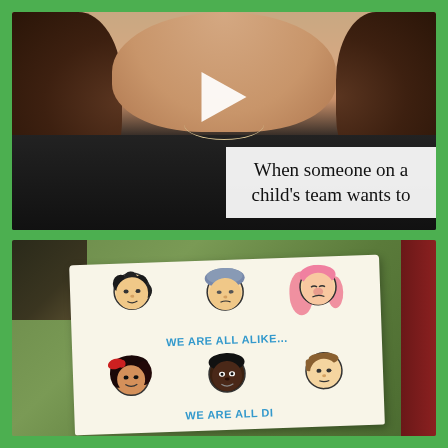[Figure (photo): Screenshot of a video showing a person from chin/neck down wearing a black top with a necklace. A white play button triangle is visible in the center. A white text overlay in the bottom right reads 'When someone on a child's team wants to']
When someone on a child's team wants to
[Figure (photo): Photo of a hand-held children's book page showing cartoon faces of diverse children arranged in two rows. Blue text reads 'WE ARE ALL ALIKE...' and 'WE ARE ALL DI...' (partially cut off). The book is held against a green leafy background.]